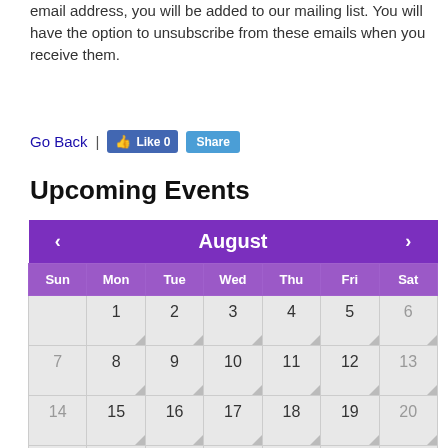email address, you will be added to our mailing list. You will have the option to unsubscribe from these emails when you receive them.
Go Back | Like 0  Share
Upcoming Events
[Figure (other): August calendar showing dates 1-31, with day headers Sun through Sat. Date 21 is highlighted in purple. Navigation arrows on left and right of month header.]